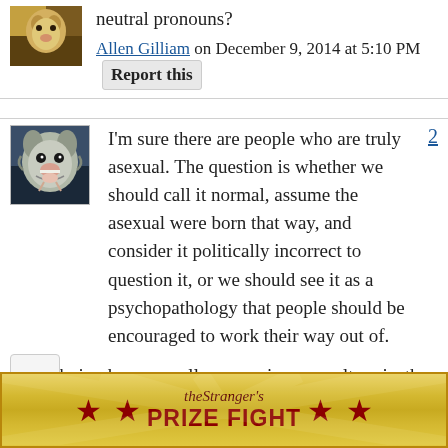[Figure (photo): Small avatar thumbnail of an animal (partial view at top)]
neutral pronouns?
Allen Gilliam on December 9, 2014 at 5:10 PM  Report this
[Figure (photo): Avatar of a wolf with mouth open, snarling, fantasy artwork style]
I'm sure there are people who are truly asexual. The question is whether we should call it normal, assume the asexual were born that way, and consider it politically incorrect to question it, or we should see it as a psychopathology that people should be encouraged to work their way out of.
Considering how sexually repressive our culture is, the latter is far more likely, though I
[Figure (other): Advertisement banner for The Stranger's Prize Fight with red stars and gold/yellow background]